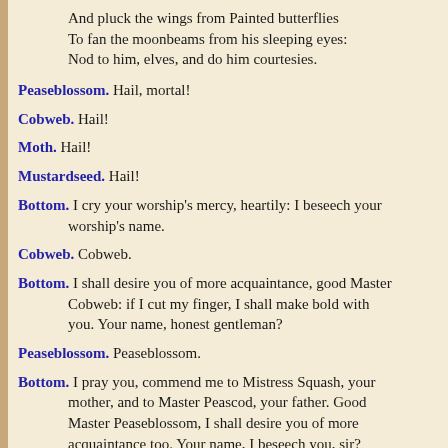And pluck the wings from Painted butterflies
To fan the moonbeams from his sleeping eyes:
Nod to him, elves, and do him courtesies.
Peaseblossom. Hail, mortal!
Cobweb. Hail!
Moth. Hail!
Mustardseed. Hail!
Bottom. I cry your worship's mercy, heartily: I beseech your worship's name.
Cobweb. Cobweb.
Bottom. I shall desire you of more acquaintance, good Master Cobweb: if I cut my finger, I shall make bold with you. Your name, honest gentleman?
Peaseblossom. Peaseblossom.
Bottom. I pray you, commend me to Mistress Squash, your mother, and to Master Peascod, your father. Good Master Peaseblossom, I shall desire you of more acquaintance too. Your name, I beseech you, sir?
Mustardseed. Mustardseed.